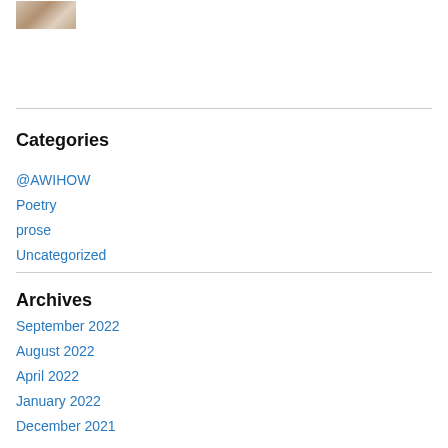[Figure (photo): Small thumbnail photo of a person]
Categories
@AWIHOW
Poetry
prose
Uncategorized
Archives
September 2022
August 2022
April 2022
January 2022
December 2021
October 2021
September 2021